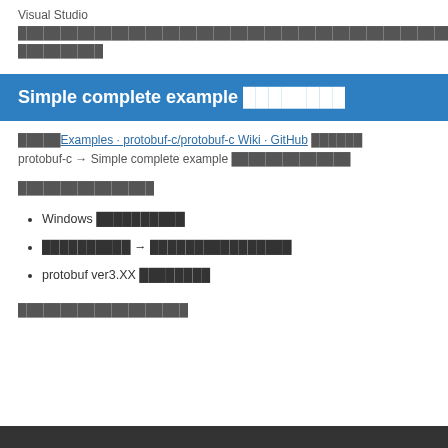Visual Studio ████████████████████████████████████████████████████████████████████████████
Simple complete example ████████
█████Examples · protobuf-c/protobuf-c Wiki · GitHub ██████ protobuf-c → Simple complete example ██████████████
████████████████
Windows ██████████
██████████ → ████████████████
protobuf ver3.XX ████████
████████████████████